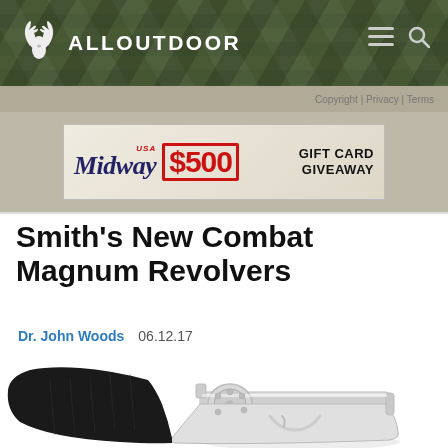ALLOUTDOOR
Copyright | Privacy | Terms
[Figure (screenshot): MidwayUSA $500 Gift Card Giveaway advertisement banner]
Smith's New Combat Magnum Revolvers
Dr. John Woods   06.12.17
[Figure (photo): Photograph of a stainless steel Smith & Wesson Combat Magnum revolver with black rubber grip, shown at an angle from the left side]